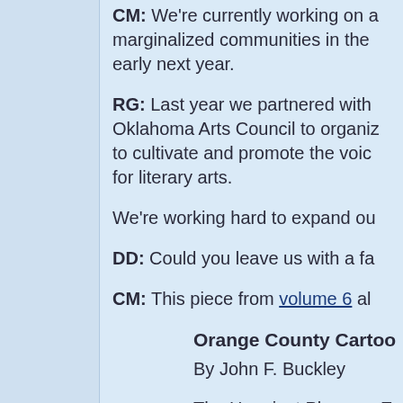CM: We're currently working on a [marginalized communities in the] early next year.
RG: Last year we partnered with [Oklahoma Arts Council to organiz] to cultivate and promote the voic for literary arts.
We're working hard to expand ou
DD: Could you leave us with a fa
CM: This piece from volume 6 al
Orange County Cartoo
By John F. Buckley
The Happiest Place on Ea contains no legal abortion so Mickey had to drive Mi to the breakfast-cereal ca where the Kellogg's Rai